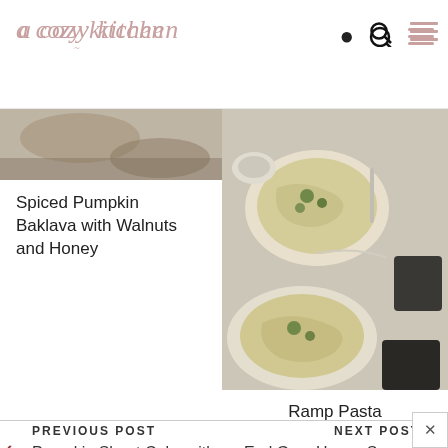a cozy kitchen
[Figure (photo): Partial photo of Spiced Pumpkin Baklava, cut off at top]
Spiced Pumpkin Baklava with Walnuts and Honey
[Figure (photo): Bowl of Ramp Pasta with green herbs and spaghetti, served with dark cups on marble surface]
Ramp Pasta
PREVIOUS POST
Pumpkin Sheet Cake with Brown Butter Frosting
NEXT POST
Earl Grey Honey Scones